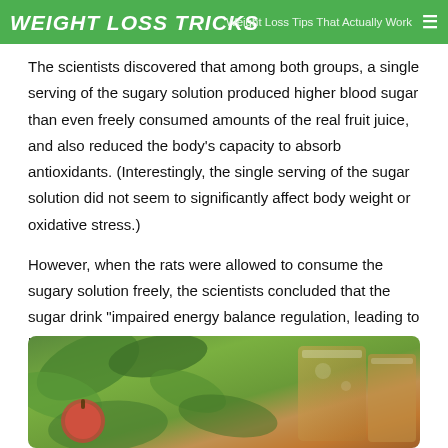WEIGHT LOSS TRICKS — Weight Loss Tips That Actually Work
The scientists discovered that among both groups, a single serving of the sugary solution produced higher blood sugar than even freely consumed amounts of the real fruit juice, and also reduced the body's capacity to absorb antioxidants. (Interestingly, the single serving of the sugar solution did not seem to significantly affect body weight or oxidative stress.)
However, when the rats were allowed to consume the sugary solution freely, the scientists concluded that the sugar drink "impaired energy balance regulation, leading to higher caloric intake . . . as well as weight gain, fasting hyperglycemia, insulin intolerance and impaired oxidative stress."
[Figure (photo): Photo of green leaves and two glasses of iced tea or juice drink on a natural background]